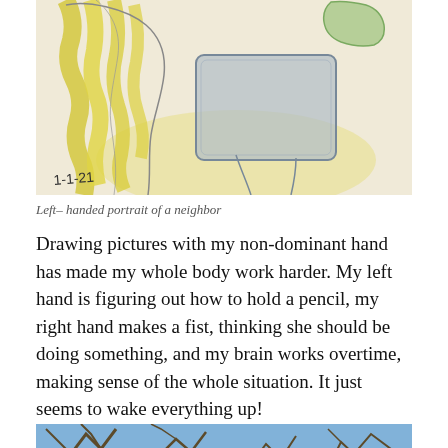[Figure (illustration): A child's watercolor/pencil drawing of a left-handed portrait of a neighbor, dated 1-1-21. Shows loose wavy yellow hair on the left, a blue-gray rectangular shape in the center-right, and a small green shape at top right, on a light yellowish background.]
Left– handed portrait of a neighbor
Drawing pictures with my non-dominant hand has made my whole body work harder. My left hand is figuring out how to hold a pencil, my right hand makes a fist, thinking she should be doing something, and my brain works overtime, making sense of the whole situation. It just seems to wake everything up!
[Figure (photo): A photo showing tree branches against a blue sky, partially visible at bottom of page.]